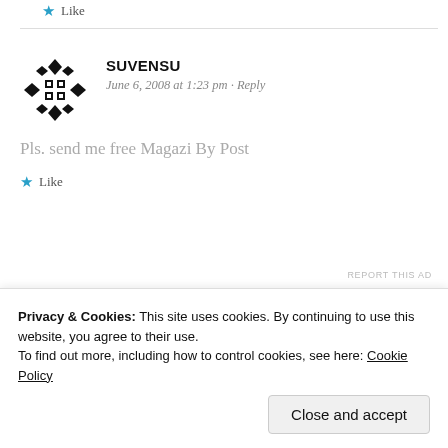Like
SUVENSU
June 6, 2008 at 1:23 pm · Reply
Pls. send me free Magazi By Post
Like
REPORT THIS AD
Privacy & Cookies: This site uses cookies. By continuing to use this website, you agree to their use. To find out more, including how to control cookies, see here: Cookie Policy
Close and accept